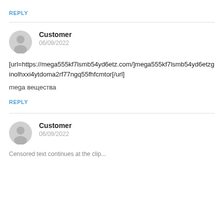REPLY
Customer
06/09/2022
[url=https://mega555kf7lsmb54yd6etz.com/]mega555kf7lsmb54yd6etzginolhxxi4ytdoma2rf77ngq55fhfcmtor[/url]
mega вещества
REPLY
Customer
06/09/2022
Censored text continues at the clip...